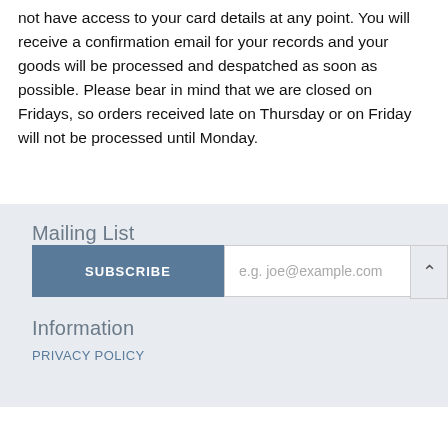not have access to your card details at any point.  You will receive a confirmation email for your records and your goods will be processed and despatched as soon as possible.  Please bear in mind that we are closed on Fridays, so orders received late on Thursday or on Friday will not be processed until Monday.
Mailing List
SUBSCRIBE | e.g. joe@example.com
Information
PRIVACY POLICY